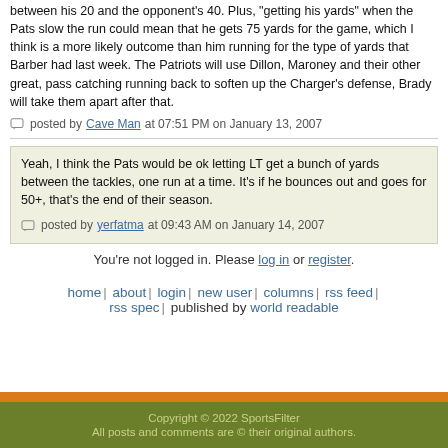between his 20 and the opponent's 40. Plus, "getting his yards" when the Pats slow the run could mean that he gets 75 yards for the game, which I think is a more likely outcome than him running for the type of yards that Barber had last week. The Patriots will use Dillon, Maroney and their other great, pass catching running back to soften up the Charger's defense, Brady will take them apart after that.
posted by Cave_Man at 07:51 PM on January 13, 2007
Yeah, I think the Pats would be ok letting LT get a bunch of yards between the tackles, one run at a time. It's if he bounces out and goes for 50+, that's the end of their season.
posted by yerfatma at 09:43 AM on January 14, 2007
You're not logged in. Please log in or register.
home | about | login | new user | columns | rss feed | rss spec | published by world readable
Copyright © 2022 SportsFilter
All posts and comments are © their original authors.